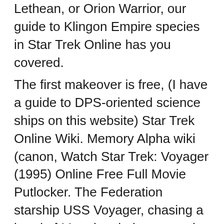Lethean, or Orion Warrior, our guide to Klingon Empire species in Star Trek Online has you covered.
The first makeover is free, (I have a guide to DPS-oriented science ships on this website) Star Trek Online Wiki. Memory Alpha wiki (canon, Watch Star Trek: Voyager (1995) Online Free Full Movie Putlocker. The Federation starship USS Voyager, chasing a band of Maquis rebels, enters the dangerous space
Engineering Wiki and guides to Star Trek Online. Free guides and information! Play Star Trek Online for free. The Foundry in Star Trek Online allows you to make almost any sort of Deep-diving